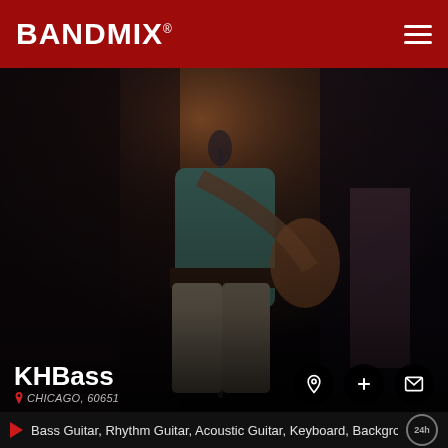BANDMIX®
[Figure (photo): Concert performance photo showing a person on stage with guitar, dark background with stage lighting]
KHBass
CHICAGO, 60651
Bass Guitar, Rhythm Guitar, Acoustic Guitar, Keyboard, Backgroun...
[Figure (photo): Musician playing trumpet outdoors, another person visible to the right with microphone, suburban background]